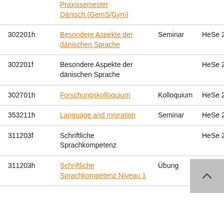| ID | Title | Type | Semester |
| --- | --- | --- | --- |
|  | Praxissemester Dänisch (GemS/Gym) |  |  |
| 302201h | Besondere Aspekte der dänischen Sprache | Seminar | HeSe 2022 |
| 302201f | Besondere Aspekte der dänischen Sprache |  | HeSe 2021 |
| 302701h | Forschungskolloquium | Kolloquium | HeSe 2022 |
| 353211h | Language and migration | Seminar | HeSe 2022 |
| 311203f | Schriftliche Sprachkompetenz |  | HeSe 2021 |
| 311203h | Schriftliche Sprachkompetenz Niveau 1 | Übung | HeSe 2022 |